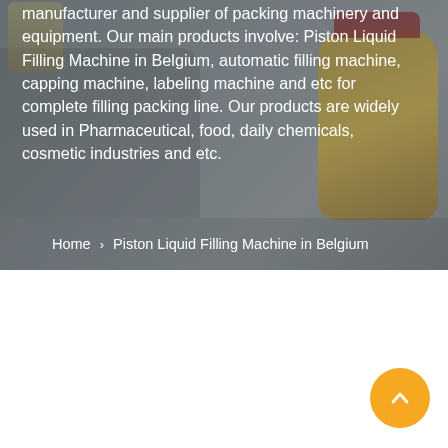[Figure (photo): Background hero image showing packing machinery and glass jars with product, overlaid with semi-transparent gray tint. A yellow/amber jar is visible on the right side, and filling machine equipment on the left.]
manufacturer and supplier of packing machinery and equipment. Our main products involve: Piston Liquid Filling Machine in Belgium, automatic filling machine, capping machine, labeling machine and etc for complete filling packing line. Our products are widely used in Pharmaceutical, food, daily chemicals, cosmetic industries and etc.
Home  >  Piston Liquid Filling Machine in Belgium